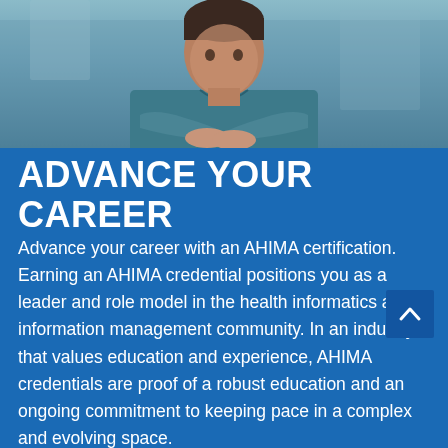[Figure (photo): A person with arms crossed wearing a teal/blue shirt, photographed in a professional setting with blurred office background]
ADVANCE YOUR CAREER
Advance your career with an AHIMA certification. Earning an AHIMA credential positions you as a leader and role model in the health informatics and information management community. In an industry that values education and experience, AHIMA credentials are proof of a robust education and an ongoing commitment to keeping pace in a complex and evolving space.